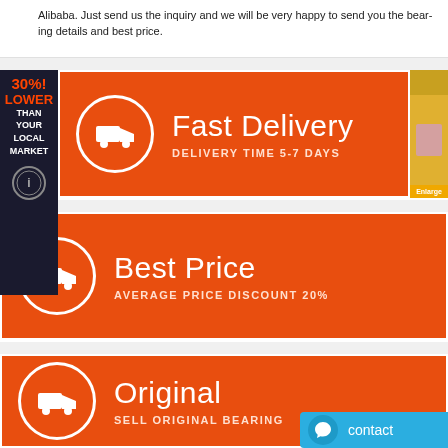Alibaba. Just send us the inquiry and we will be very happy to send you the bearing details and best price.
[Figure (infographic): Sidebar badge: 30%! LOWER THAN YOUR LOCAL MARKET with a seal icon]
[Figure (infographic): Orange banner: Fast Delivery - DELIVERY TIME 5-7 DAYS with truck icon circle]
[Figure (infographic): Orange banner: Best Price - AVERAGE PRICE DISCOUNT 20% with truck icon circle]
[Figure (infographic): Orange banner: Original - SELL ORIGINAL BEARING with truck icon circle]
[Figure (infographic): Contact button bottom right with chat icon]